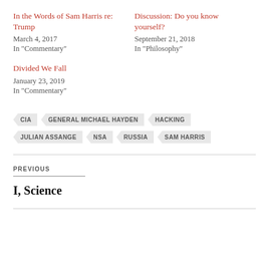In the Words of Sam Harris re: Trump
March 4, 2017
In "Commentary"
Discussion: Do you know yourself?
September 21, 2018
In "Philosophy"
Divided We Fall
January 23, 2019
In "Commentary"
CIA
GENERAL MICHAEL HAYDEN
HACKING
JULIAN ASSANGE
NSA
RUSSIA
SAM HARRIS
PREVIOUS
I, Science